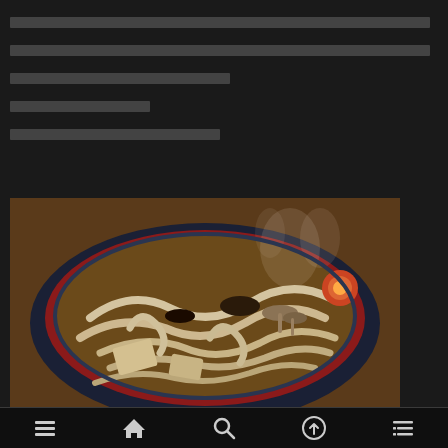[redacted text line 1 - full width]
[redacted text line 2 - full width]
[redacted text line 3 - half width]
[redacted text line 4 - short]
[redacted text line 5 - medium]
[Figure (photo): A steaming bowl of udon noodles with mushrooms, tofu, and egg in a red and dark blue bowl, photographed from above at an angle, with visible steam rising from the hot broth.]
Navigation bar with menu, home, search, upload, and list icons